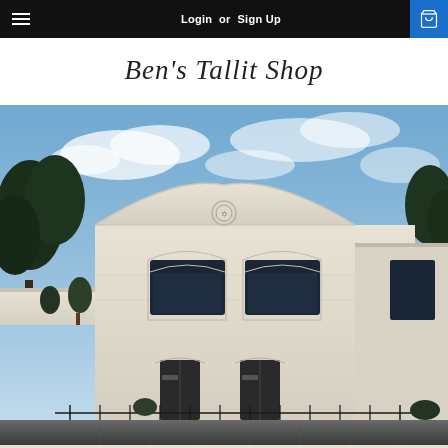Login or Sign Up
Ben's Tallit Shop
[Figure (photo): Exterior photograph of Ben's Tallit Shop — a large cream/off-white commercial building with a decorative curved roofline, arched window details, dark double doors, and a small emblem/medallion on the facade. Trees visible on the left side, parking lot in foreground, blue sky with clouds above.]